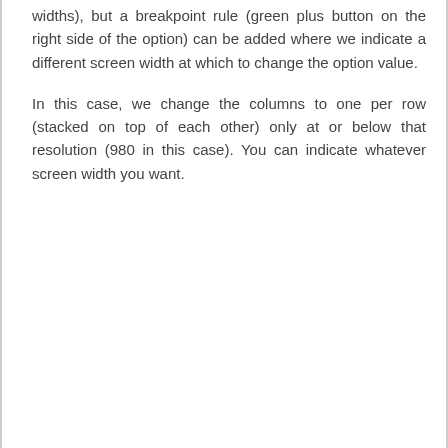widths), but a breakpoint rule (green plus button on the right side of the option) can be added where we indicate a different screen width at which to change the option value.
In this case, we change the columns to one per row (stacked on top of each other) only at or below that resolution (980 in this case). You can indicate whatever screen width you want.